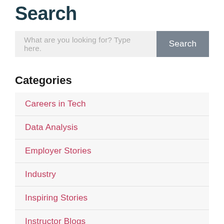Search
What are you looking for? Type here.
Categories
Careers in Tech
Data Analysis
Employer Stories
Industry
Inspiring Stories
Instructor Blogs
Learning to Code